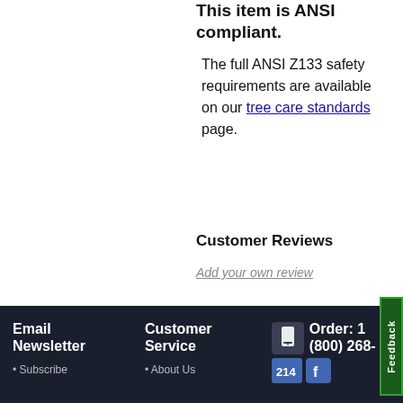This item is ANSI compliant.
The full ANSI Z133 safety requirements are available on our tree care standards page.
Customer Reviews
Add your own review
Email Newsletter | Customer Service | Order: 1 (800) 268- | 214 | Subscribe | About Us | Feedback